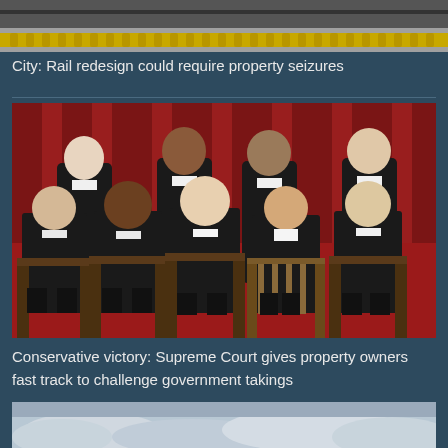[Figure (photo): Top partial photo showing a rail/subway platform with yellow tactile strip]
City: Rail redesign could require property seizures
[Figure (photo): Official Supreme Court group portrait photo with nine justices seated and standing in black robes against red curtain backdrop]
Conservative victory: Supreme Court gives property owners fast track to challenge government takings
[Figure (photo): Bottom partial photo showing cloudy sky scene]